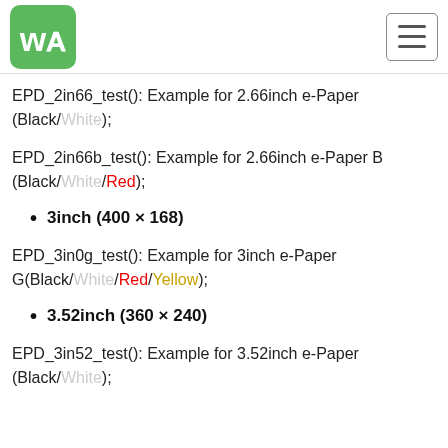Waveshare logo and navigation menu
EPD_2in66_test(): Example for 2.66inch e-Paper (Black/White);
EPD_2in66b_test(): Example for 2.66inch e-Paper B (Black/White/Red);
3inch (400 × 168)
EPD_3in0g_test(): Example for 3inch e-Paper G(Black/White/Red/Yellow);
3.52inch (360 × 240)
EPD_3in52_test(): Example for 3.52inch e-Paper (Black/White);